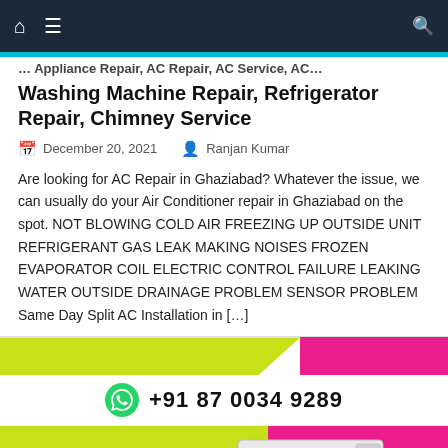Navigation bar with home, menu, and search icons
Washing Machine Repair, Refrigerator Repair, Chimney Service
December 20, 2021   Ranjan Kumar
Are looking for AC Repair in Ghaziabad? Whatever the issue, we can usually do your Air Conditioner repair in Ghaziabad on the spot. NOT BLOWING COLD AIR FREEZING UP OUTSIDE UNIT REFRIGERANT GAS LEAK MAKING NOISES FROZEN EVAPORATOR COIL ELECTRIC CONTROL FAILURE LEAKING WATER OUTSIDE DRAINAGE PROBLEM SENSOR PROBLEM Same Day Split AC Installation in [...]
[Figure (infographic): Yellow-green and pink banner with WhatsApp number +91 87 0034 9289 and AC on Rent advertisement with air conditioner image]